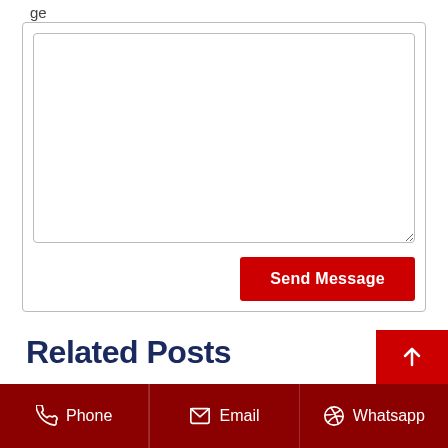ge
[Figure (screenshot): A textarea input box (empty) with a resize handle at the bottom right, inside a bordered card]
Send Message
Related Posts
[Figure (other): Red button with white upward arrow icon]
Phone  Email  Whatsapp